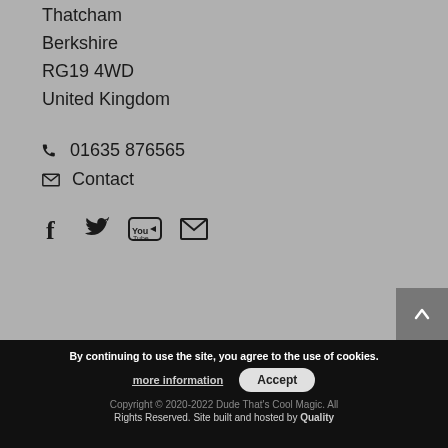Thatcham
Berkshire
RG19 4WD
United Kingdom
☎ 01635 876565
✉ Contact
[Figure (other): Social media icons: Facebook, Twitter, YouTube, Email]
By continuing to use the site, you agree to the use of cookies. more information | Accept | Copyright © 2020-2022 Dude That's Cool Magic. All Rights Reserved. Site built and hosted by Quality